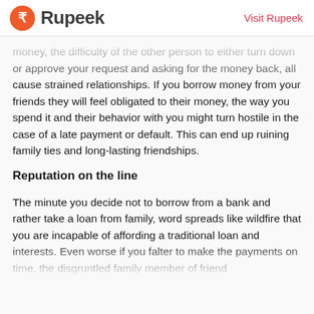Rupeek | Visit Rupeek
money, the difficulty of the other person to either turn down or approve your request and asking for the money back, all cause strained relationships. If you borrow money from your friends they will feel obligated to their money, the way you spend it and their behavior with you might turn hostile in the case of a late payment or default. This can end up ruining family ties and long-lasting friendships.
Reputation on the line
The minute you decide not to borrow from a bank and rather take a loan from family, word spreads like wildfire that you are incapable of affording a traditional loan and interests. Even worse if you falter to make the payments on time, the disgruntled family member of friend